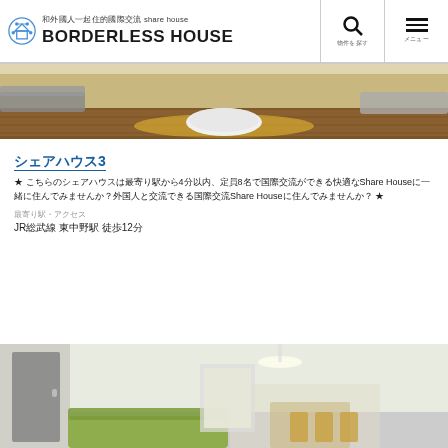和外國人一起住的國際交流 share house BORDERLESS HOUSE
[Figure (photo): Interior photo of a share house living room with wooden floor, round white coffee table, and sofa]
シェアハウス3
★ こちらのシェアハウスは最寄り駅から4分以内、定員8名で国際交流ができる快適なShare Houseです。入居者の半数が外国人の国際交流Share Houseに住んでみませんか？ ★
最寄り駅・アクセス
JR総武線 東中野駅 徒歩12分
[Figure (photo): Interior photo of a share house room with light green sofa and dining area visible through doorway]